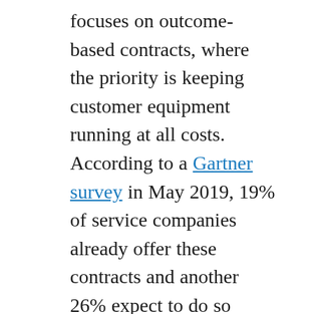focuses on outcome-based contracts, where the priority is keeping customer equipment running at all costs. According to a Gartner survey in May 2019, 19% of service companies already offer these contracts and another 26% expect to do so within 12 months. This often requires a greater reliance on automated remote monitoring tools and remote assistance tools, which ultimately translates into a hands-off approach that is so critical during today's safety-conscious world. Aside from reducing the volume of customer issues, this model also simplifies contractual obligations for customers. Instead of worrying about the details of service plans